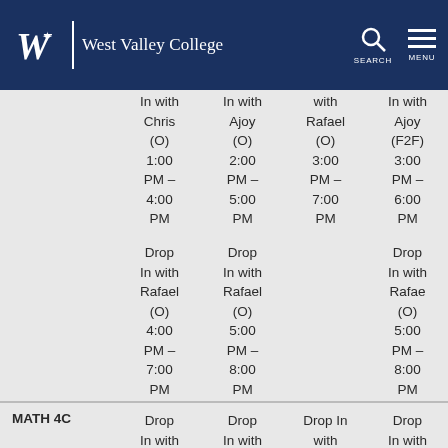West Valley College
|  | Col1 | Col2 | Col3 | Col4 |
| --- | --- | --- | --- | --- |
|  | Drop In with Chris (O) 1:00 PM – 4:00 PM | Drop In with Ajoy (O) 2:00 PM – 5:00 PM | Drop with Rafael (O) 3:00 PM – 7:00 PM | Drop In with Ajoy (F2F) 3:00 PM – 6:00 PM |
|  | Drop In with Rafael (O) 4:00 PM – 7:00 PM | Drop In with Rafael (O) 5:00 PM – 8:00 PM |  | Drop In with Rafael (O) 5:00 PM – 8:00 PM |
| MATH 4C | Drop In with Peter | Drop In with Rafael | Drop In with Peter | Drop In with Rafa |